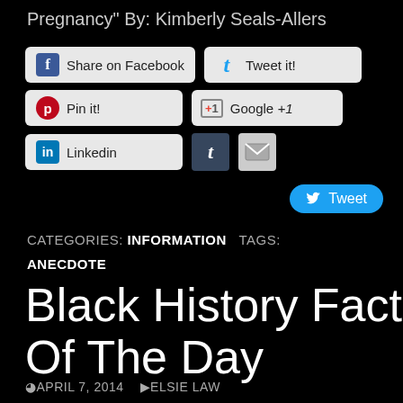Pregnancy" By: Kimberly Seals-Allers
[Figure (screenshot): Social sharing buttons: Share on Facebook, Tweet it!, Pin it!, Google +1, Linkedin, Tumblr, Email, and a Tweet button]
CATEGORIES: INFORMATION   TAGS: ANECDOTE
Black History Fact Of The Day
APRIL 7, 2014   ELSIE LAW